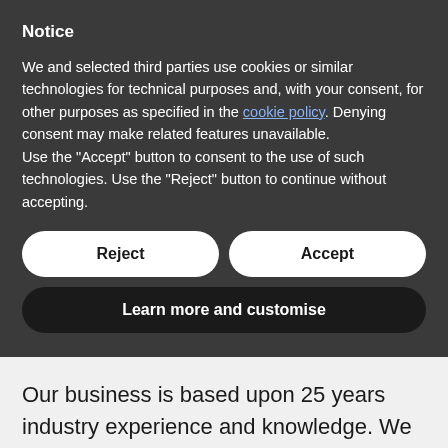Notice
We and selected third parties use cookies or similar technologies for technical purposes and, with your consent, for other purposes as specified in the cookie policy. Denying consent may make related features unavailable.
Use the “Accept” button to consent to the use of such technologies. Use the “Reject” button to continue without accepting.
Reject
Accept
Learn more and customise
Our business is based upon 25 years industry experience and knowledge. We specialise in ductwork cleaning and re mediation projects, ventilation hygiene surveys, Fire door inspections,